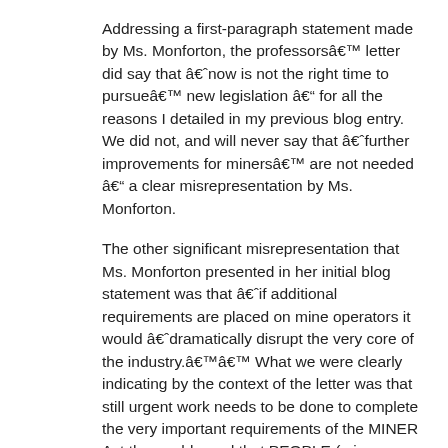Addressing a first-paragraph statement made by Ms. Monforton, the professorsâ€™ letter did say that â€˜now is not the right time to pursueâ€™ new legislation â€“ for all the reasons I detailed in my previous blog entry. We did not, and will never say that â€˜further improvements for minersâ€™ are not needed â€“ a clear misrepresentation by Ms. Monforton.
The other significant misrepresentation that Ms. Monforton presented in her initial blog statement was that â€˜if additional requirements are placed on mine operators it would â€˜dramatically disrupt the very core of the industry.â€™â€™ What we were clearly indicating by the context of the letter was that still urgent work needs to be done to complete the very important requirements of the MINER Act thoroughly, and that PEOPLE (miners, mine safety professionals, federal and state agents